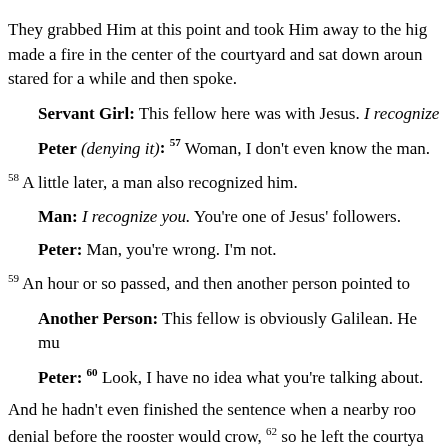They grabbed Him at this point and took Him away to the high priest's house. Peter followed at a distance. 56 The guards made a fire in the center of the courtyard and sat down around it, and Peter sat with them. A servant girl stared for a while and then spoke.
Servant Girl: This fellow here was with Jesus. I recognize him.
Peter (denying it): 57 Woman, I don't even know the man.
58 A little later, a man also recognized him.
Man: I recognize you. You're one of Jesus' followers.
Peter: Man, you're wrong. I'm not.
59 An hour or so passed, and then another person pointed to
Another Person: This fellow is obviously Galilean. He mu
Peter: 60 Look, I have no idea what you're talking about.
And he hadn't even finished the sentence when a nearby roo denial before the rooster would crow, 62 so he left the courtya
63 At this point, the men who were holding Jesus began to m